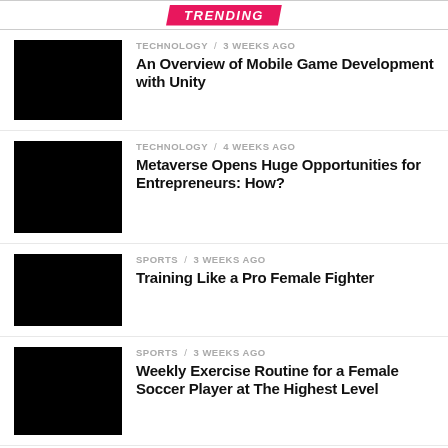TRENDING
[Figure (photo): Black thumbnail image for article 1]
TECHNOLOGY / 3 weeks ago
An Overview of Mobile Game Development with Unity
[Figure (photo): Black thumbnail image for article 2]
TECHNOLOGY / 4 weeks ago
Metaverse Opens Huge Opportunities for Entrepreneurs: How?
[Figure (photo): Black thumbnail image for article 3]
SPORTS / 3 weeks ago
Training Like a Pro Female Fighter
[Figure (photo): Black thumbnail image for article 4]
SPORTS / 3 weeks ago
Weekly Exercise Routine for a Female Soccer Player at The Highest Level
[Figure (photo): Black thumbnail image for article 5]
TRAVEL / 3 weeks ago
How To Look For The Perfect Travel Destination